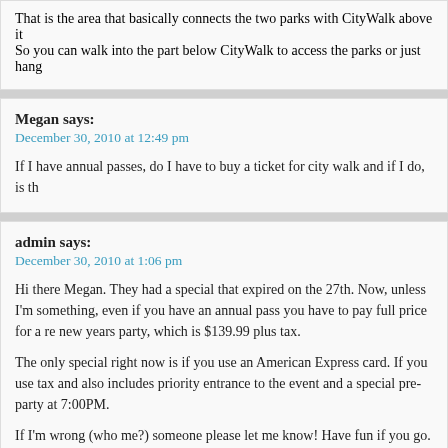That is the area that basically connects the two parks with CityWalk above it. So you can walk into the part below CityWalk to access the parks or just hang
Megan says:
December 30, 2010 at 12:49 pm

If I have annual passes, do I have to buy a ticket for city walk and if I do, is th
admin says:
December 30, 2010 at 1:06 pm

Hi there Megan. They had a special that expired on the 27th. Now, unless I'm something, even if you have an annual pass you have to pay full price for a re new years party, which is $139.99 plus tax.

The only special right now is if you use an American Express card. If you use tax and also includes priority entrance to the event and a special pre-party at 7:00PM.

If I'm wrong (who me?) someone please let me know! Have fun if you go. 🙂